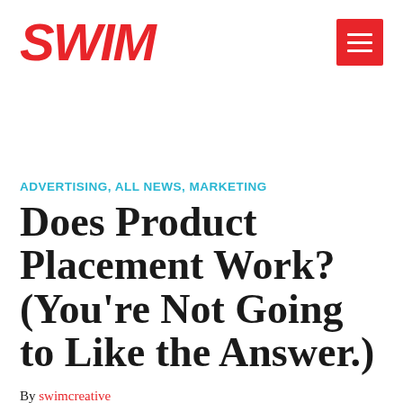[Figure (logo): SWIM logo in bold red italic text with hamburger menu icon on red background in top right]
ADVERTISING, ALL NEWS, MARKETING
Does Product Placement Work? (You're Not Going to Like the Answer.)
By swimcreative